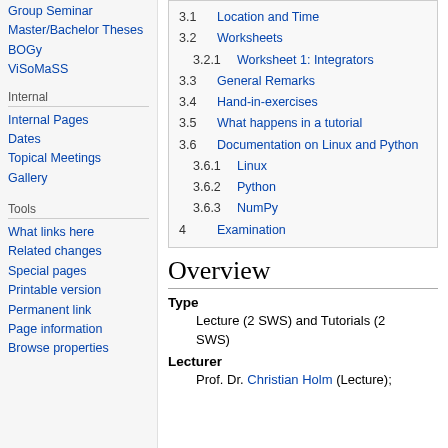Group Seminar
Master/Bachelor Theses
BOGy
ViSoMaSS
Internal
Internal Pages
Dates
Topical Meetings
Gallery
Tools
What links here
Related changes
Special pages
Printable version
Permanent link
Page information
Browse properties
| 3.1 | Location and Time |
| 3.2 | Worksheets |
| 3.2.1 | Worksheet 1: Integrators |
| 3.3 | General Remarks |
| 3.4 | Hand-in-exercises |
| 3.5 | What happens in a tutorial |
| 3.6 | Documentation on Linux and Python |
| 3.6.1 | Linux |
| 3.6.2 | Python |
| 3.6.3 | NumPy |
| 4 | Examination |
Overview
Type
Lecture (2 SWS) and Tutorials (2 SWS)
Lecturer
Prof. Dr. Christian Holm (Lecture);